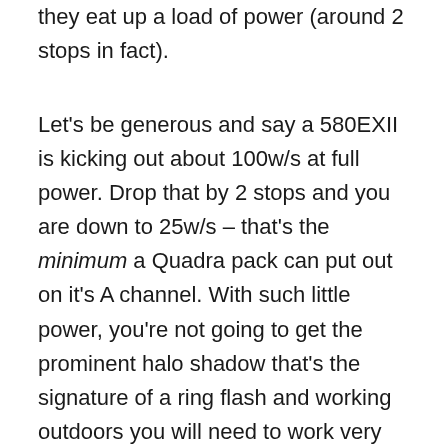they eat up a load of power (around 2 stops in fact).
Let's be generous and say a 580EXII is kicking out about 100w/s at full power. Drop that by 2 stops and you are down to 25w/s – that's the minimum a Quadra pack can put out on it's A channel. With such little power, you're not going to get the prominent halo shadow that's the signature of a ring flash and working outdoors you will need to work very close to get any effect at all.